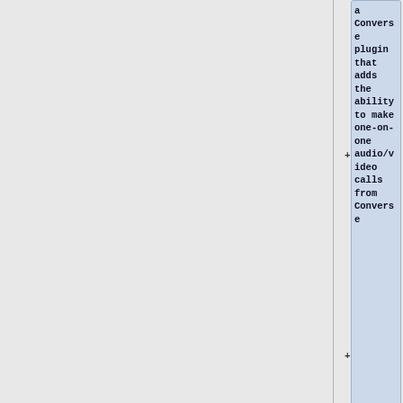a Converse plugin that adds the ability to make one-on-one audio/video calls from Converse
* The audio/video calls must be compatible with other XMPP clients such as [https://conversations.im Conversation